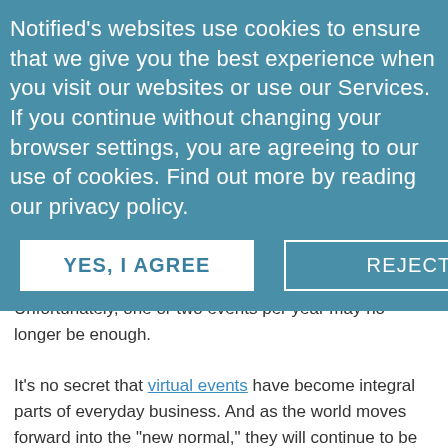Notified's websites use cookies to ensure that we give you the best experience when you visit our websites or use our Services. If you continue without changing your browser settings, you are agreeing to our use of cookies. Find out more by reading our privacy policy.
YES, I AGREE
REJECT
Unfortunately, one or two events per year may no longer be enough.
It's no secret that virtual events have become integral parts of everyday business. And as the world moves forward into the "new normal," they will continue to be part of any successful outreach strategy.
In order to reach critical audiences, event planners must learn to grow and sustain a consistent schedule